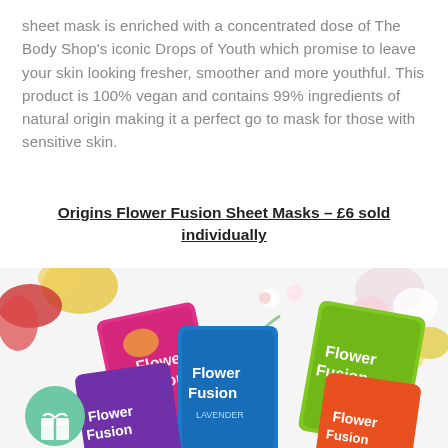sheet mask is enriched with a concentrated dose of The Body Shop's iconic Drops of Youth which promise to leave your skin looking fresher, smoother and more youthful. This product is 100% vegan and contains 99% ingredients of natural origin making it a perfect go to mask for those with sensitive skin.
Origins Flower Fusion Sheet Masks – £6 sold individually
[Figure (photo): Photo of multiple Origins Flower Fusion sheet mask packets in various colors (pink, blue, purple, green, yellow) arranged with colorful flowers on a white background. A green circular gift icon with a bow/present symbol is visible in the lower left.]